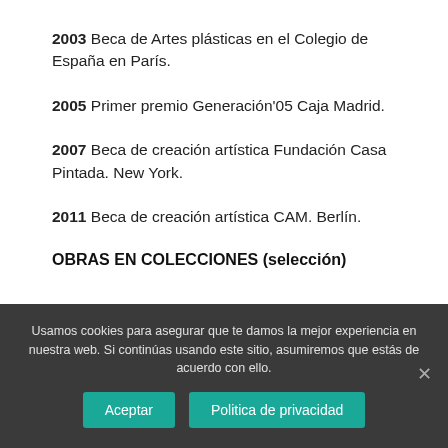2003 Beca de Artes plásticas en el Colegio de España en París.
2005 Primer premio Generación'05 Caja Madrid.
2007 Beca de creación artística Fundación Casa Pintada. New York.
2011 Beca de creación artística CAM. Berlín.
OBRAS EN COLECCIONES (selección)
Usamos cookies para asegurar que te damos la mejor experiencia en nuestra web. Si continúas usando este sitio, asumiremos que estás de acuerdo con ello.